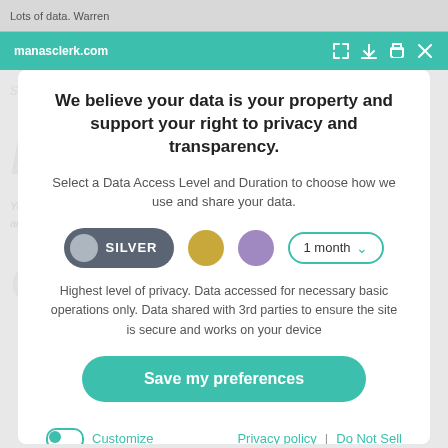Lots of data. Warren
manasclerk.com
We believe your data is your property and support your right to privacy and transparency.
Select a Data Access Level and Duration to choose how we use and share your data.
[Figure (infographic): Privacy level selector showing SILVER button (dark gray pill with gray circle), a gold circle, a purple circle, and a '1 month' dropdown with teal border.]
Highest level of privacy. Data accessed for necessary basic operations only. Data shared with 3rd parties to ensure the site is secure and works on your device
[Figure (infographic): Teal rounded button labeled 'Save my preferences']
Customize
Privacy policy  |  Do Not Sell